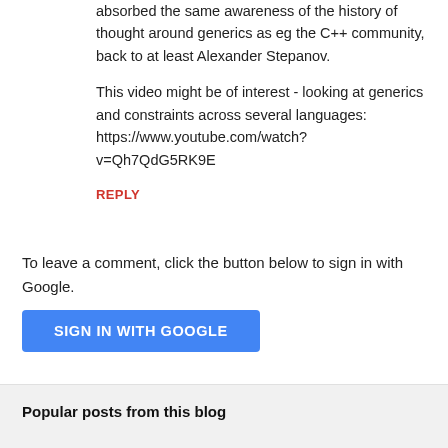absorbed the same awareness of the history of thought around generics as eg the C++ community, back to at least Alexander Stepanov.
This video might be of interest - looking at generics and constraints across several languages: https://www.youtube.com/watch?v=Qh7QdG5RK9E
REPLY
To leave a comment, click the button below to sign in with Google.
SIGN IN WITH GOOGLE
Popular posts from this blog